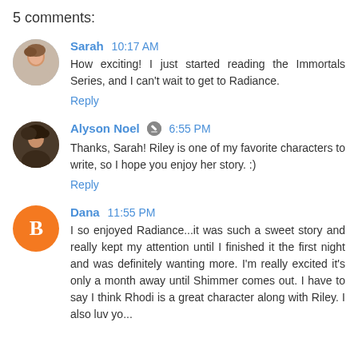5 comments:
Sarah 10:17 AM
How exciting! I just started reading the Immortals Series, and I can't wait to get to Radiance.
Reply
Alyson Noel 6:55 PM
Thanks, Sarah! Riley is one of my favorite characters to write, so I hope you enjoy her story. :)
Reply
Dana 11:55 PM
I so enjoyed Radiance...it was such a sweet story and really kept my attention until I finished it the first night and was definitely wanting more. I'm really excited it's only a month away until Shimmer comes out. I have to say I think Rhodi is a great character along with Riley. I also luv yo...